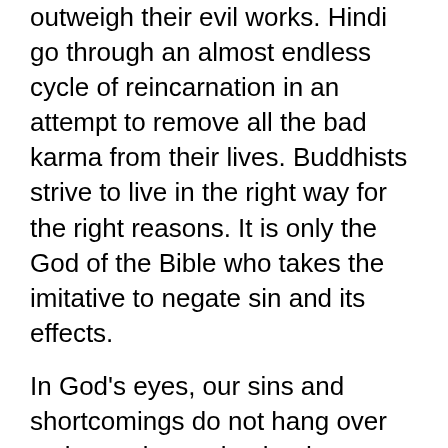outweigh their evil works. Hindi go through an almost endless cycle of reincarnation in an attempt to remove all the bad karma from their lives. Buddhists strive to live in the right way for the right reasons. It is only the God of the Bible who takes the imitative to negate sin and its effects.
In God's eyes, our sins and shortcomings do not hang over us in condemnation but have been removed in love. He does not see us through a filter of sin that demands judgment but through a filter of love that extends grace and mercy.
Unexpected Grace
God invites to reason with him, then tells us a truth He doesn't want to debate with us. Rather